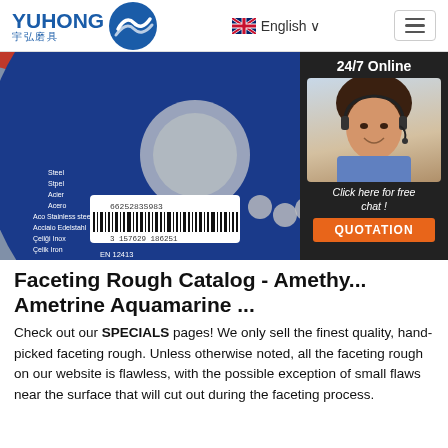YUHONG 宇弘磨具 | English | Menu
[Figure (photo): Close-up photo of a blue grinding disc (cutting wheel) with barcode 6625283S983, EN 12413 certification, and safety icons. A customer service agent with headset is shown in an overlay panel on the right side with '24/7 Online', 'Click here for free chat!', and 'QUOTATION' button.]
Faceting Rough Catalog - Amethy... Ametrine Aquamarine ...
Check out our SPECIALS pages! We only sell the finest quality, hand-picked faceting rough. Unless otherwise noted, all the faceting rough on our website is flawless, with the possible exception of small flaws near the surface that will cut out during the faceting process.